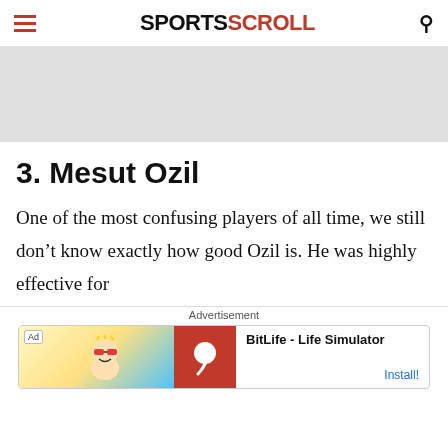SPORTSCROLL
[Figure (other): Gray advertisement banner placeholder]
3. Mesut Ozil
One of the most confusing players of all time, we still don't know exactly how good Ozil is. He was highly effective for
[Figure (other): BitLife - Life Simulator app advertisement banner with game character and red logo]